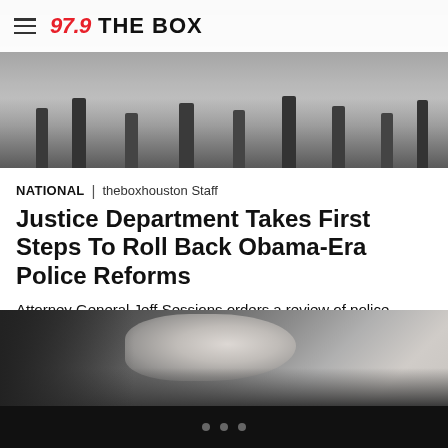97.9 THE BOX
[Figure (photo): Black and white photo of people's legs/lower bodies, crowd scene from above]
NATIONAL | theboxhouston Staff
Justice Department Takes First Steps To Roll Back Obama-Era Police Reforms
Attorney General Jeff Sessions orders a review of police reform consent decrees.
[Figure (photo): Black and white close-up photo of a young Black child resting chin on hand, looking to the side]
• • •